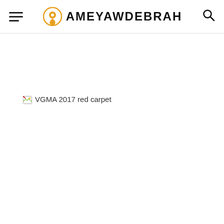AMEYAWDEBRAH
[Figure (photo): Broken image placeholder with alt text 'VGMA 2017 red carpet']